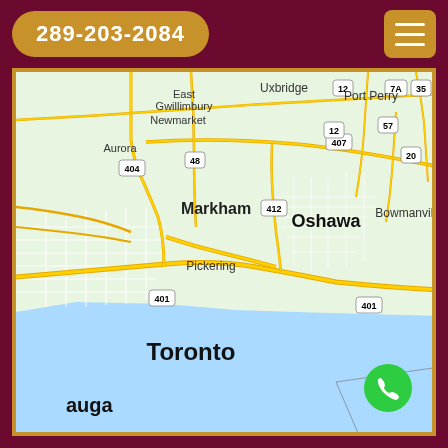289-203-2084
[Figure (map): Google Maps screenshot showing the Greater Toronto Area including Toronto, Markham, Oshawa, Pickering, Bowmanville, Aurora, Newmarket, East Gwillimbury, Uxbridge, Port Perry, and Mississauga (auga). Major highways visible: 401, 404, 407, 412, 48, 12, 57, 35, 20, 7A. Lake Ontario visible in lower portion.]